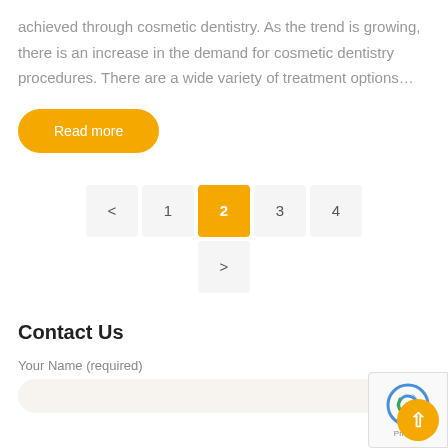achieved through cosmetic dentistry. As the trend is growing, there is an increase in the demand for cosmetic dentistry procedures. There are a wide variety of treatment options…
Read more
< 1 2 3 4 >
Contact Us
Your Name (required)